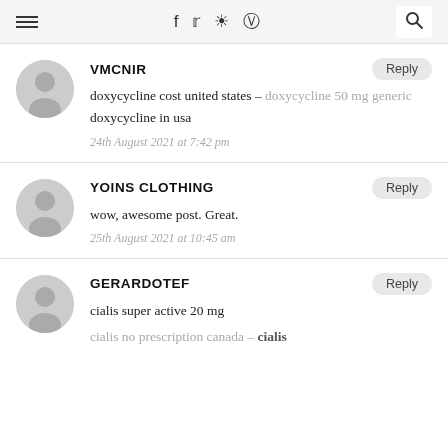≡  f  𝕥  📷  𝕡  🔍
VMCNIR — doxycycline cost united states – doxycycline 50 mg generic doxycycline in usa — 24th August 2021 at 7:42 pm
YOINS CLOTHING — wow, awesome post. Great. — 25th August 2021 at 10:45 am
GERARDOTEF — cialis super active 20 mg cialis no prescription canada – cialis